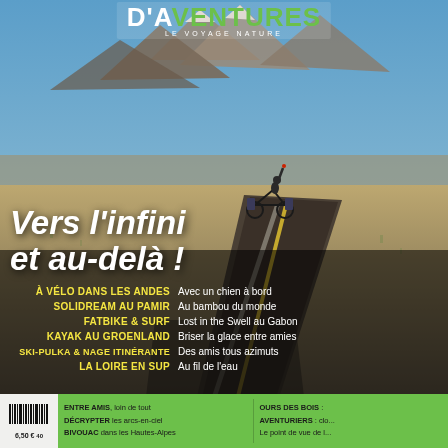[Figure (photo): Magazine cover of 'Esprit d'Aventures - Le Voyage Nature'. Background photo shows a cyclist riding on a straight open road through an arid landscape with mountains in the background, arm raised in triumph.]
D'AVENTURES LE VOYAGE NATURE
Vers l'infini et au-delà !
À VÉLO DANS LES ANDES - Avec un chien à bord
SOLIDREAM AU PAMIR - Au bambou du monde
FATBIKE & SURF - Lost in the Swell au Gabon
KAYAK AU GROENLAND - Briser la glace entre amies
SKI-PULKA & NAGE ITINÉRANTE - Des amis tous azimuts
LA LOIRE EN SUP - Au fil de l'eau
ENTRE AMIS, loin de tout
DÉCRYPTER les arcs-en-ciel
BIVOUAC dans les Hautes-Alpes
OURS DES BOIS
AVENTURIERS : clo...
Le point de vue de l...
6,50 €